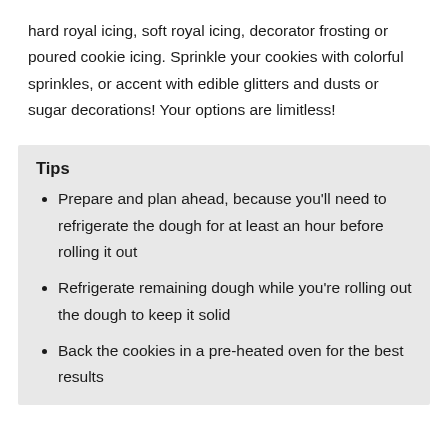hard royal icing, soft royal icing, decorator frosting or poured cookie icing. Sprinkle your cookies with colorful sprinkles, or accent with edible glitters and dusts or sugar decorations! Your options are limitless!
Tips
Prepare and plan ahead, because you'll need to refrigerate the dough for at least an hour before rolling it out
Refrigerate remaining dough while you're rolling out the dough to keep it solid
Back the cookies in a pre-heated oven for the best results